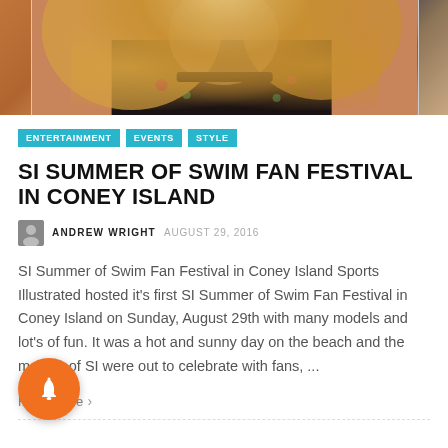[Figure (photo): Close-up photo of a blonde woman wearing a black floral outfit and black choker necklace, cropped at the top of the article.]
ENTERTAINMENT
EVENTS
STYLE
SI SUMMER OF SWIM FAN FESTIVAL IN CONEY ISLAND
ANDREW WRIGHT  AUGUST 29, 2016
SI Summer of Swim Fan Festival in Coney Island Sports Illustrated hosted it's first SI Summer of Swim Fan Festival in Coney Island on Sunday, August 29th with many models and lot's of fun. It was a hot and sunny day on the beach and the models of SI were out to celebrate with fans, ...
Read More >